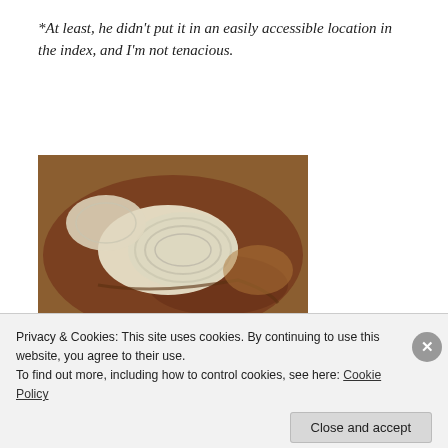*At least, he didn't put it in an easily accessible location in the index, and I'm not tenacious.
[Figure (photo): Close-up photo of raw sliced onions cooking in a pan, showing white onion slices with caramelizing edges in a brown pan]
[Figure (photo): Close-up photo of caramelized onions in a pan, showing browned and cooked onion strands]
Privacy & Cookies: This site uses cookies. By continuing to use this website, you agree to their use.
To find out more, including how to control cookies, see here: Cookie Policy
Close and accept